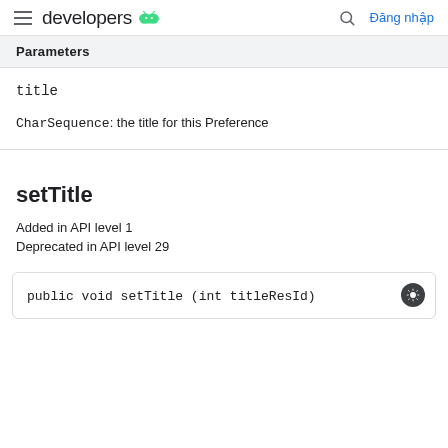developers [Android logo] [Search] Đăng nhập
Parameters
title
CharSequence: the title for this Preference
setTitle
Added in API level 1
Deprecated in API level 29
public void setTitle (int titleResId)